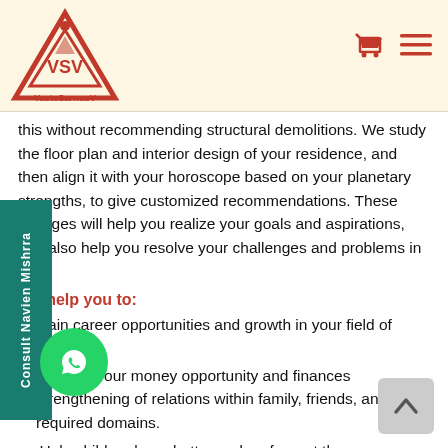VastuSarwasV logo and navigation
this without recommending structural demolitions. We study the floor plan and interior design of your residence, and then align it with your horoscope based on your planetary strengths, to give customized recommendations. These changes will help you realize your goals and aspirations, and also help you resolve your challenges and problems in life.
We help you to:
Gain career opportunities and growth in your field of work.
Improve your money opportunity and finances strengthening of relations within family, friends, and other required domains.
Help children learn better and perform at the